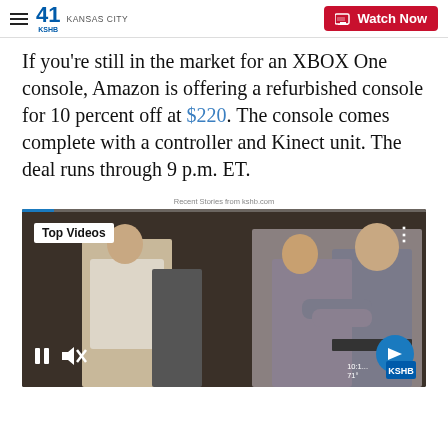KSHB 41 KANSAS CITY — Watch Now
If you're still in the market for an XBOX One console, Amazon is offering a refurbished console for 10 percent off at $220. The console comes complete with a controller and Kinect unit. The deal runs through 9 p.m. ET.
Recent Stories from kshb.com
[Figure (screenshot): Video player showing 'Top Videos' label in top-left corner with two people hugging in a room in the background. Video controls (pause, mute) visible at bottom-left, arrow navigation button at bottom-right. Progress bar at top. Time stamp 10:1_ and temperature 71° shown at bottom right along with KSHB logo.]